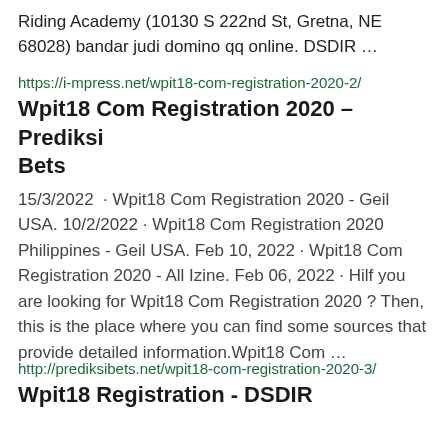Riding Academy (10130 S 222nd St, Gretna, NE 68028) bandar judi domino qq online. DSDIR …
https://i-mpress.net/wpit18-com-registration-2020-2/
Wpit18 Com Registration 2020 – Prediksi Bets
15/3/2022 · Wpit18 Com Registration 2020 - Geil USA. 10/2/2022 · Wpit18 Com Registration 2020 Philippines - Geil USA. Feb 10, 2022 · Wpit18 Com Registration 2020 - All Izine. Feb 06, 2022 · Hilf you are looking for Wpit18 Com Registration 2020 ? Then, this is the place where you can find some sources that provide detailed information.Wpit18 Com …
http://prediksibets.net/wpit18-com-registration-2020-3/
Wpit18 Registration - DSDIR